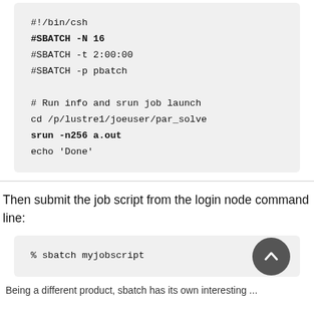[Figure (screenshot): Code block showing a shell script with #!/bin/csh, #SBATCH directives, and srun job launch commands]
Then submit the job script from the login node command line:
[Figure (screenshot): Code block showing: % sbatch myjobscript, with a scroll-to-top circular button]
Being a different product, sbatch has its own interesting ...